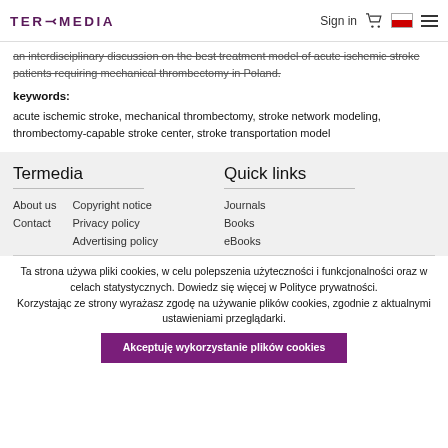TERMEDIA | Sign in | [cart] | [Polish flag] | [menu]
an interdisciplinary discussion on the best treatment model of acute ischemic stroke patients requiring mechanical thrombectomy in Poland.
keywords:
acute ischemic stroke, mechanical thrombectomy, stroke network modeling, thrombectomy-capable stroke center, stroke transportation model
Termedia
Quick links
About us
Copyright notice
Journals
Contact
Privacy policy
Books
Advertising policy
eBooks
Ta strona używa pliki cookies, w celu polepszenia użyteczności i funkcjonalności oraz w celach statystycznych. Dowiedz się więcej w Polityce prywatności.
Korzystając ze strony wyrażasz zgodę na używanie plików cookies, zgodnie z aktualnymi ustawieniami przeglądarki.
Akceptuję wykorzystanie plików cookies